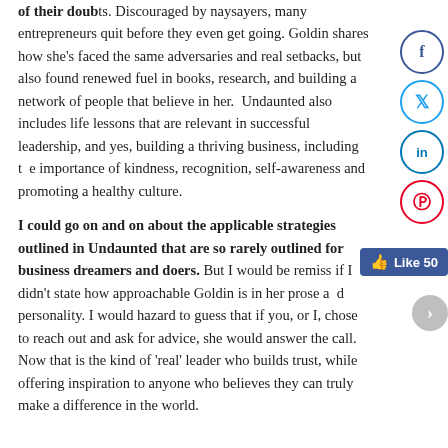of their doubts. Discouraged by naysayers, many entrepreneurs quit before they even get going. Goldin shares how she's faced the same adversaries and real setbacks, but also found renewed fuel in books, research, and building a network of people that believe in her.  Undaunted also includes life lessons that are relevant in successful leadership, and yes, building a thriving business, including the importance of kindness, recognition, self-awareness and promoting a healthy culture.

I could go on and on about the applicable strategies outlined in Undaunted that are so rarely outlined for business dreamers and doers. But I would be remiss if I didn't state how approachable Goldin is in her prose and personality. I would hazard to guess that if you, or I, chose to reach out and ask for advice, she would answer the call. Now that is the kind of 'real' leader who builds trust, while offering inspiration to anyone who believes they can truly make a difference in the world.
Image Courtesy Harper Collins Leadership